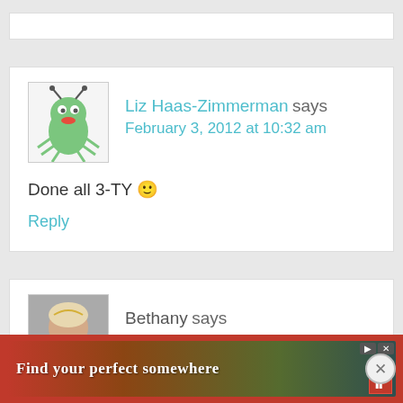[Figure (illustration): Top of a comment box, partially visible, white background, cropped at top]
Liz Haas-Zimmerman says
February 3, 2012 at 10:32 am
[Figure (illustration): Avatar illustration of a green bug/alien character with antennae and red lips on white background]
Done all 3-TY 🙂
Reply
Bethany says
February 3, 2012 at 10:32 am
[Figure (photo): Avatar photo of a woman with light hair, appears to be wearing a white dress, smiling]
Th... blo...
[Figure (screenshot): Advertisement banner: 'Find your perfect somewhere' on a red background with close and play buttons]